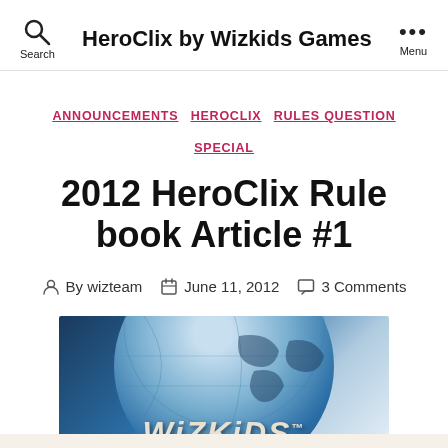HeroClix by Wizkids Games
ANNOUNCEMENTS  HEROCLIX  RULES QUESTION SPECIAL
2012 HeroClix Rule book Article #1
By wizteam  June 11, 2012  3 Comments
[Figure (photo): WizKids logo globe image with dark blue and light blue globe in background and stylized WiZKiDS text in foreground]